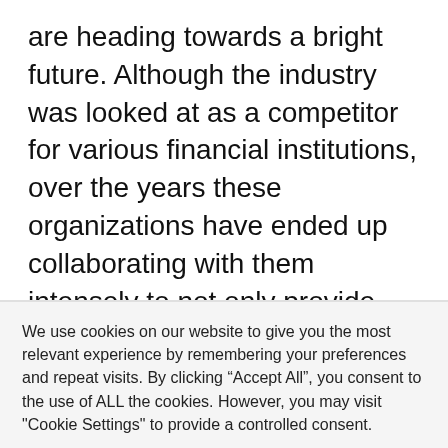are heading towards a bright future. Although the industry was looked at as a competitor for various financial institutions, over the years these organizations have ended up collaborating with them intensely to not only provide enhanced services but also ease up their pen and paper hard work. Such a future demands for the industry to keep up with growing demands and bring massive
We use cookies on our website to give you the most relevant experience by remembering your preferences and repeat visits. By clicking “Accept All”, you consent to the use of ALL the cookies. However, you may visit "Cookie Settings" to provide a controlled consent.